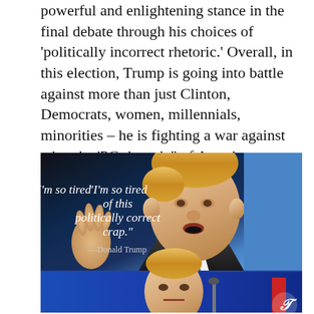powerful and enlightening stance in the final debate through his choices of ‘politically incorrect rhetoric.’ Overall, in this election, Trump is going into battle against more than just Clinton, Democrats, women, millennials, minorities – he is fighting a war against what the ‘PC rhetoric” of American politics has become.
[Figure (photo): Photo of Donald Trump speaking at a podium with hand raised, dark background with blue lighting. Overlaid quote text: “I’m so tired of this politically correct crap.” —Donald Trump. Below is a second photo of Trump at a debate podium against a blue background, with The Telegraph logo watermark.]